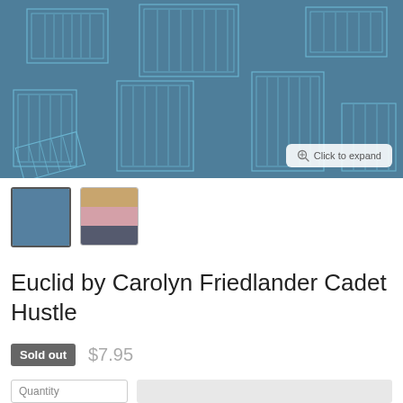[Figure (photo): Close-up photo of a blue-grey fabric with a geometric line pattern in a lighter blue, showing rectangular outlines scattered across the fabric surface. A 'Click to expand' button appears in the bottom right corner of the image.]
[Figure (photo): Two thumbnail images: first is a solid blue-grey fabric swatch (selected, with border), second shows three stacked fabric swatches in tan/orange, pink, and dark navy colors.]
Euclid by Carolyn Friedlander Cadet Hustle
Sold out   $7.95
Quantity